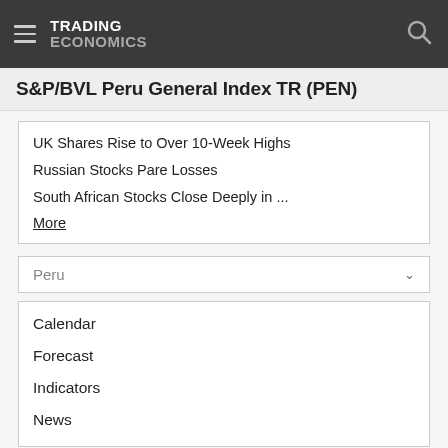TRADING ECONOMICS
S&P/BVL Peru General Index TR (PEN)
UK Shares Rise to Over 10-Week Highs
Russian Stocks Pare Losses
South African Stocks Close Deeply in ...
More
Peru
Calendar
Forecast
Indicators
News
Markets
Currency